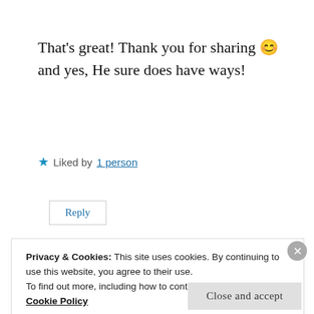That's great! Thank you for sharing 😊 and yes, He sure does have ways!
★ Liked by 1 person
Reply
Advertisements
[Figure (logo): Longreads advertisement banner with red background, circular L logo and LONGREADS text in white]
Privacy & Cookies: This site uses cookies. By continuing to use this website, you agree to their use.
To find out more, including how to control cookies, see here: Cookie Policy
Close and accept